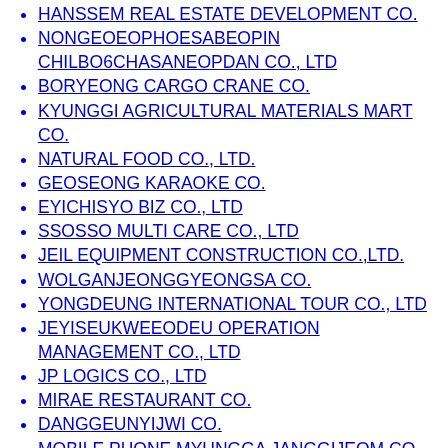HANSSEM REAL ESTATE DEVELOPMENT CO.
NONGEOEOPHOESABEOPIN CHILBO6CHASANEOPDAN CO., LTD
BORYEONG CARGO CRANE CO.
KYUNGGI AGRICULTURAL MATERIALS MART CO.
NATURAL FOOD CO., LTD.
GEOSEONG KARAOKE CO.
EYICHISYO BIZ CO., LTD
SSOSSO MULTI CARE CO., LTD
JEIL EQUIPMENT CONSTRUCTION CO.,LTD.
WOLGANJEONGGYEONGSA CO.
YONGDEUNG INTERNATIONAL TOUR CO., LTD
JEYISEUKWEEODEU OPERATION MANAGEMENT CO., LTD
JP LOGICS CO., LTD
MIRAE RESTAURANT CO.
DANGGEUNYIJWI CO.
MOBILE PHONE MYUNGGA JANGGIJEOM CO.
SUNYINEJIP CO.
MYEONG BUILDING CO.
JASEONGHWAKODARIBUSANMYEONG CO.
BAKAEIM CO.
MARBEL. CO., LTD
CHUNGKIWA CO.,LTD.
SEOUL MIYOO DENTAL CLINIC CO.